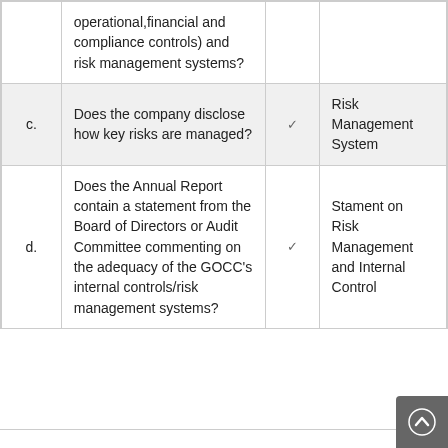|  | Question | Check | Reference |
| --- | --- | --- | --- |
|  | operational,financial and compliance controls) and risk management systems? |  |  |
| c. | Does the company disclose how key risks are managed? | ✔ | Risk Management System |
| d. | Does the Annual Report contain a statement from the Board of Directors or Audit Committee commenting on the adequacy of the GOCC's internal controls/risk management systems? | ✔ | Stament on Risk Management and Internal Control |